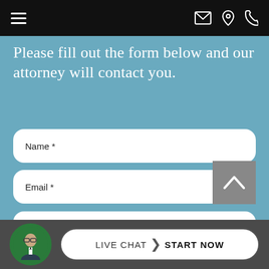Navigation bar with hamburger menu, email, location, and phone icons
Please fill out the form below and our attorney will contact you.
Name *
Email *
Phone *
Message *
[Figure (other): Gray scroll-to-top button with upward chevron arrow]
[Figure (photo): Circular avatar photo of a man in suit with glasses on green background]
LIVE CHAT  START NOW